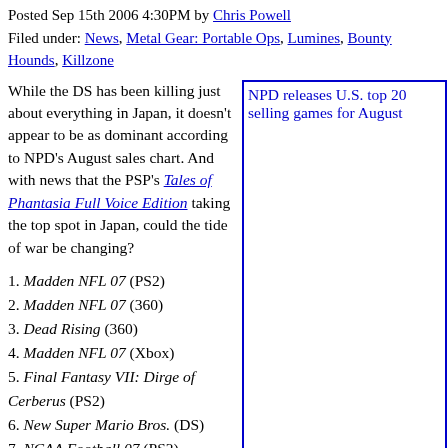Posted Sep 15th 2006 4:30PM by Chris Powell
Filed under: News, Metal Gear: Portable Ops, Lumines, Bounty Hounds, Killzone
While the DS has been killing just about everything in Japan, it doesn't appear to be as dominant according to NPD's August sales chart. And with news that the PSP's Tales of Phantasia Full Voice Edition taking the top spot in Japan, could the tide of war be changing?
[Figure (screenshot): NPD releases U.S. top 20 selling games for August - image placeholder with blue border]
1. Madden NFL 07 (PS2)
2. Madden NFL 07 (360)
3. Dead Rising (360)
4. Madden NFL 07 (Xbox)
5. Final Fantasy VII: Dirge of Cerberus (PS2)
6. New Super Mario Bros. (DS)
7. NCAA Football 07 (PS2)
8. Grand Theft Auto: Liberty City Stories (PS2)